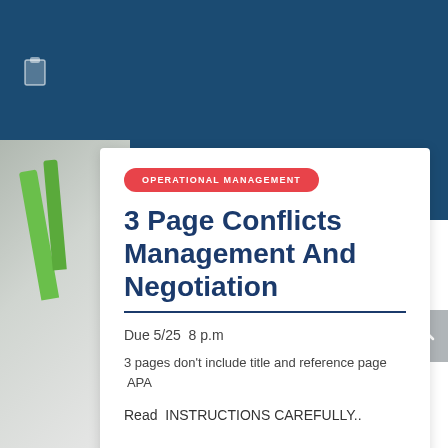OPERATIONAL MANAGEMENT
3 Page Conflicts Management And Negotiation
Due 5/25  8 p.m
3 pages don't include title and reference page
 APA
Read  INSTRUCTIONS CAREFULLY..